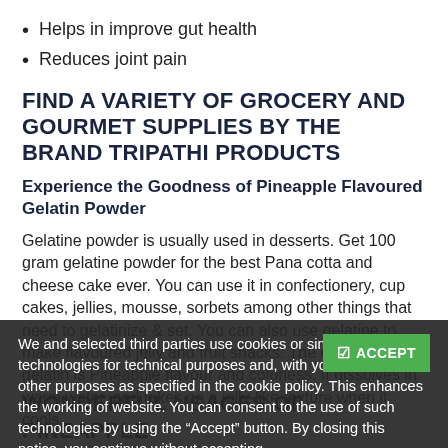Helps in improve gut health
Reduces joint pain
FIND A VARIETY OF GROCERY AND GOURMET SUPPLIES BY THE BRAND TRIPATHI PRODUCTS
Experience the Goodness of Pineapple Flavoured Gelatin Powder
Gelatine powder is usually used in desserts. Get 100 gram gelatine powder for the best Pana cotta and cheese cake ever. You can use it in confectionery, cup cakes, jellies, mousse, sorbets among other things that need to gelatinize & set. You can also use gelatine to make flavoured jelly and fruit snacks. The extracted gelatin is Pineapple flavour and colorless. It dissolves in warm water, and takes on a jelly-like texture when it cools.
We and selected third parties use cookies or similar technologies for technical purposes and, with your consent, for other purposes as specified in the cookie policy. This enhances the working of website. You can consent to the use of such technologies by using the “Accept” button. By closing this notice, you continue without accepting.
WONDERFUL USAGES OF PINEAPPLE